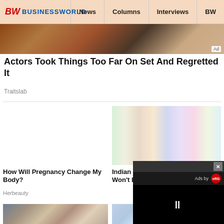BW BUSINESSWORLD | News | Columns | Interviews | BW
[Figure (screenshot): Cropped image of actors on set, partially visible at top]
Actors Took Things Too Far On Set And Regretted It
Traitslab
[Figure (photo): Close-up of pregnant woman's belly with hands]
How Will Pregnancy Change My Body?
Herbeauty
[Figure (photo): Supermarket aisle with colorful product shelves and shopper in background]
Indian FMCG Sector: The Lull Won't Last For Long
[Figure (photo): Woman lifting large round stone at outdoor event with crowd]
[Figure (photo): Partially visible image, covered by video popup]
[Figure (screenshot): Video ad popup overlay with close button X, 'Ads by eRG' branding and pause icon on black screen]